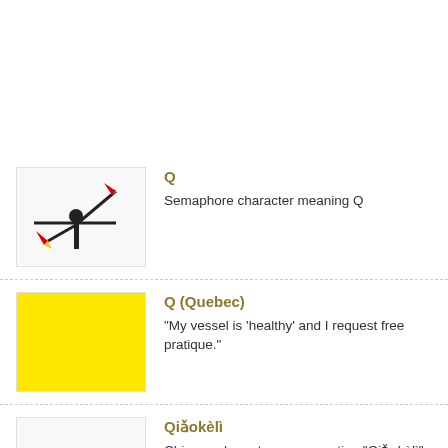Q - Semaphore character meaning Q
Q (Quebec) - "My vessel is 'healthy' and I request free pratique."
Qiǎokèlì - Chinese characters representing "Qiǎokèlì", which translates as 'Chocolate'.
qōp - Qoph or Qop (Phoenician Qōp Phoenician qoph svg) is the nineteenth letter of the Semitic